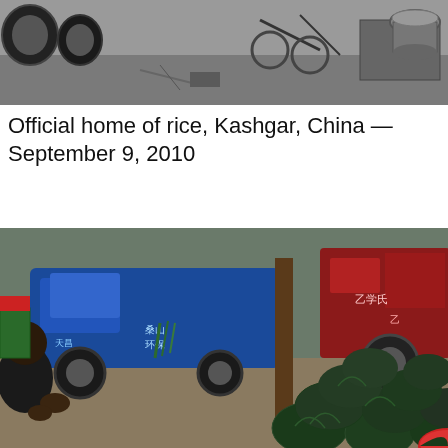[Figure (photo): Street scene in Kashgar, China — top portion showing tires, bicycles, and a large cooking pot on a cart, black and white tones]
Official home of rice, Kashgar, China — September 9, 2010
[Figure (photo): Market scene in Kashgar, China — blue electric tricycle vehicle, red trucks in background, pile of large dark green watermelons in foreground, person seated at left]